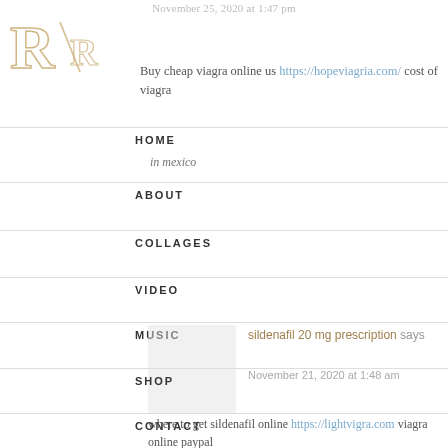November 25, 2020 at 1:47 pm
[Figure (logo): Stylized R logo in gold/tan with serif letters]
Buy cheap viagra online us https://hopeviagria.com/ cost of viagra
HOME
in mexico
ABOUT
COLLAGES
VIDEO
MUSIC
sildenafil 20 mg prescription says
SHOP
November 21, 2020 at 1:48 am
CONTACT
where to get sildenafil online https://lightvigra.com viagra online paypal